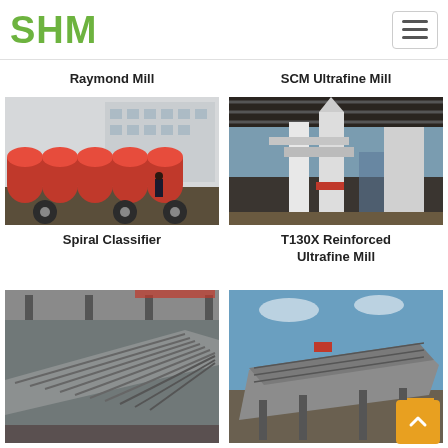SHM
Raymond Mill
SCM Ultrafine Mill
[Figure (photo): Red spiral classifier drums loaded on a flatbed truck, industrial setting]
[Figure (photo): T130X Reinforced Ultrafine Mill industrial equipment under a shed]
Spiral Classifier
T130X Reinforced Ultrafine Mill
[Figure (photo): Industrial conveyor or feeder equipment in a factory]
[Figure (photo): Vibrating screen or screening equipment outdoors]